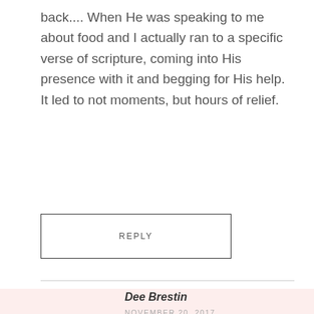back.... When He was speaking to me about food and I actually ran to a specific verse of scripture, coming into His presence with it and begging for His help. It led to not moments, but hours of relief.
REPLY
[Figure (photo): Portrait photo of a woman with short brown hair, smiling, wearing a teal/green top with a dark jacket, photographed outdoors.]
Dee Brestin
NOVEMBER 20, 2017